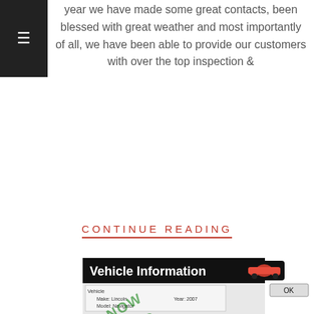year we have made some great contacts, been blessed with great weather and most importantly of all, we have been able to provide our customers with over the top inspection &
CONTINUE READING
[Figure (screenshot): Vehicle Information dialog box showing a 2007 Lincoln Navigator with VIN 5LMFU28557LJ05418, Interface Type: All, OBD-II Type: Not Reported, and Vehicle Module Information section with Software ID Block listing PCM Part #: 7U7AHC..., Software Level: INBHCLB_HEX, Copyright: Copyright Ford Mo... Co. 2008. The image has a watermark overlay reading 'NOW INC' in green diagonal text.]